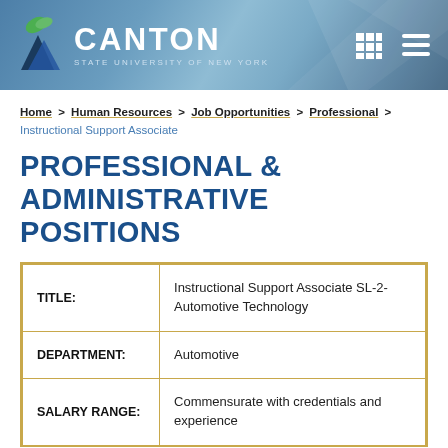[Figure (logo): SUNY Canton logo with leaf and geometric shapes, white text on blue gradient banner header]
Home > Human Resources > Job Opportunities > Professional > Instructional Support Associate
PROFESSIONAL & ADMINISTRATIVE POSITIONS
| TITLE: | Instructional Support Associate SL-2- Automotive Technology |
| DEPARTMENT: | Automotive |
| SALARY RANGE: | Commensurate with credentials and experience |